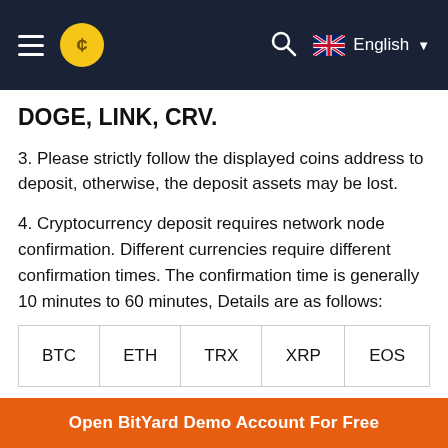BitYard — English (navigation bar)
DOGE, LINK, CRV.
3. Please strictly follow the displayed coins address to deposit, otherwise, the deposit assets may be lost.
4. Cryptocurrency deposit requires network node confirmation. Different currencies require different confirmation times. The confirmation time is generally 10 minutes to 60 minutes, Details are as follows:
| BTC | ETH | TRX | XRP | EOS |
| --- | --- | --- | --- | --- |
Open BitYard Demo Account For Free